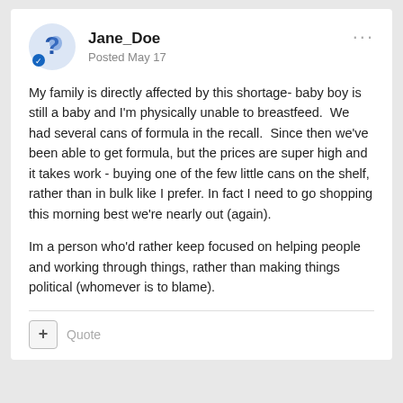Jane_Doe
Posted May 17
My family is directly affected by this shortage- baby boy is still a baby and I'm physically unable to breastfeed.  We had several cans of formula in the recall.  Since then we've been able to get formula, but the prices are super high and it takes work - buying one of the few little cans on the shelf, rather than in bulk like I prefer. In fact I need to go shopping this morning best we're nearly out (again).
Im a person who'd rather keep focused on helping people and working through things, rather than making things political (whomever is to blame).
Quote